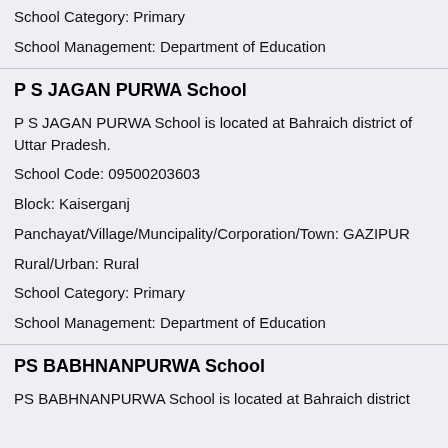School Category: Primary
School Management: Department of Education
P S JAGAN PURWA School
P S JAGAN PURWA School is located at Bahraich district of Uttar Pradesh.
School Code: 09500203603
Block: Kaiserganj
Panchayat/Village/Muncipality/Corporation/Town: GAZIPUR
Rural/Urban: Rural
School Category: Primary
School Management: Department of Education
PS BABHNANPURWA School
PS BABHNANPURWA School is located at Bahraich district